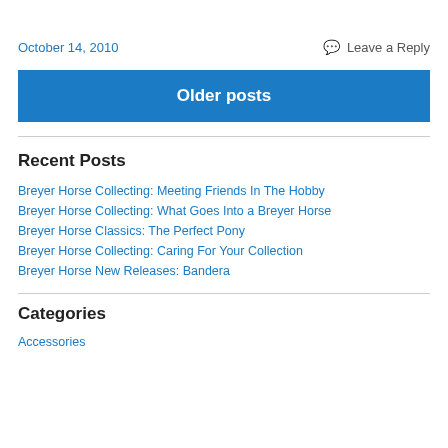October 14, 2010
Leave a Reply
Older posts
Recent Posts
Breyer Horse Collecting: Meeting Friends In The Hobby
Breyer Horse Collecting: What Goes Into a Breyer Horse
Breyer Horse Classics: The Perfect Pony
Breyer Horse Collecting: Caring For Your Collection
Breyer Horse New Releases: Bandera
Categories
Accessories